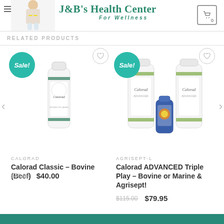J&B's Health Center For Wellness
RELATED PRODUCTS
[Figure (photo): Product image of Calorad Classic single white bottle with green label bands]
CALORAD
Calorad Classic – Bovine (Beef)
$79.95  $40.00
[Figure (photo): Product image of Calorad ADVANCED Triple Play showing two large white bottles and one small blue bottle]
AGRISEPT-L
Calorad ADVANCED Triple Play – Bovine or Marine & Agrisept!
$115.00  $79.95